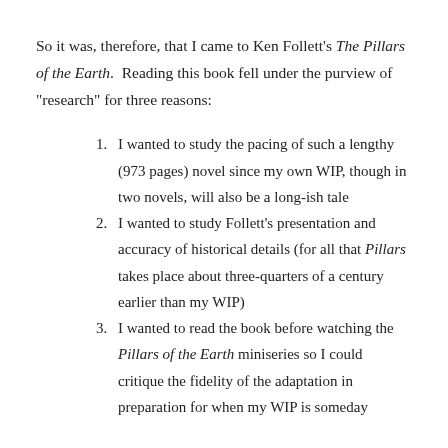So it was, therefore, that I came to Ken Follett's The Pillars of the Earth.  Reading this book fell under the purview of "research" for three reasons:
I wanted to study the pacing of such a lengthy (973 pages) novel since my own WIP, though in two novels, will also be a long-ish tale
I wanted to study Follett's presentation and accuracy of historical details (for all that Pillars takes place about three-quarters of a century earlier than my WIP)
I wanted to read the book before watching the Pillars of the Earth miniseries so I could critique the fidelity of the adaptation in preparation for when my WIP is someday